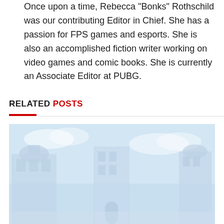Once upon a time, Rebecca "Bonks" Rothschild was our contributing Editor in Chief. She has a passion for FPS games and esports. She is also an accomplished fiction writer working on video games and comic books. She is currently an Associate Editor at PUBG.
RELATED POSTS
[Figure (photo): A washed-out, light blue-toned screenshot of a video game scene showing stylized buildings with a pale sky background, appearing to be from a game like PUBG or similar.]